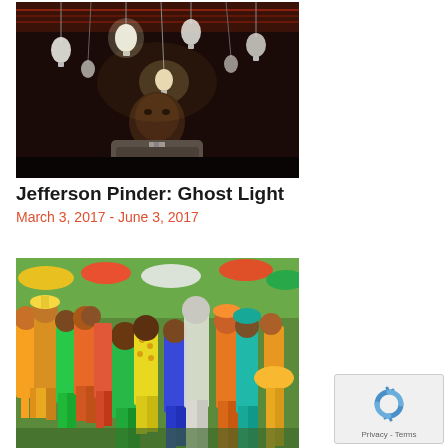[Figure (photo): A man in a suit and tie standing beneath many hanging incandescent light bulbs in a dark room. The bulbs hang from the ceiling creating an artistic installation effect.]
Jefferson Pinder: Ghost Light
March 3, 2017 - June 3, 2017
[Figure (photo): A colorful folk-art style painting depicting a large crowd of people at what appears to be a carnival or festival. The figures are dressed in vibrant oranges, greens, yellows, and reds. Some wear hats and costumes.]
[Figure (other): Google reCAPTCHA widget with a circular arrow icon and Privacy - Terms links below.]